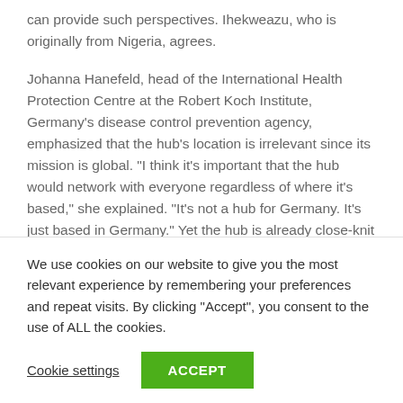can provide such perspectives. Ihekweazu, who is originally from Nigeria, agrees.
Johanna Hanefeld, head of the International Health Protection Centre at the Robert Koch Institute, Germany’s disease control prevention agency, emphasized that the hub’s location is irrelevant since its mission is global. “I think it’s important that the hub would network with everyone regardless of where it’s based,” she explained. “It’s not a hub for Germany. It’s just based in Germany.” Yet the hub is already close-knit with two of Germany’s biggest health players: Charité and the Robert Koch Institute.
We use cookies on our website to give you the most relevant experience by remembering your preferences and repeat visits. By clicking “Accept”, you consent to the use of ALL the cookies.
Cookie settings | ACCEPT